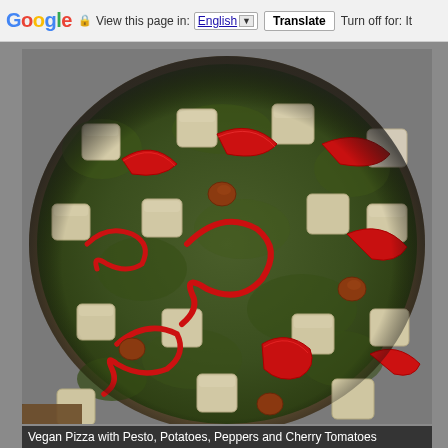Google  View this page in: English [▼]  Translate  Turn off for: It
[Figure (photo): Close-up photo of a vegan pizza topped with pesto sauce, cubed potatoes, red pepper strips, and cherry tomatoes on a round baking tray.]
Vegan Pizza with Pesto, Potatoes, Peppers and Cherry Tomatoes